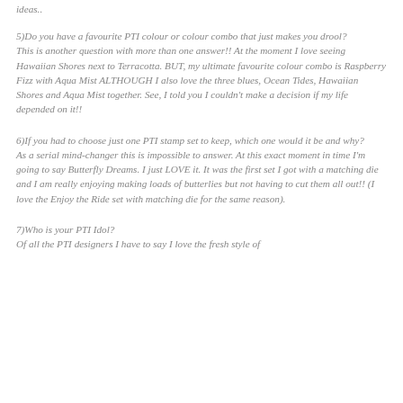ideas..
5)Do you have a favourite PTI colour or colour combo that just makes you drool?
This is another question with more than one answer!! At the moment I love seeing Hawaiian Shores next to Terracotta. BUT, my ultimate favourite colour combo is Raspberry Fizz with Aqua Mist ALTHOUGH I also love the three blues, Ocean Tides, Hawaiian Shores and Aqua Mist together. See, I told you I couldn't make a decision if my life depended on it!!
6)If you had to choose just one PTI stamp set to keep, which one would it be and why?
As a serial mind-changer this is impossible to answer. At this exact moment in time I'm going to say Butterfly Dreams. I just LOVE it. It was the first set I got with a matching die and I am really enjoying making loads of butterlies but not having to cut them all out!! (I love the Enjoy the Ride set with matching die for the same reason).
7)Who is your PTI Idol?
Of all the PTI designers I have to say I love the fresh style of